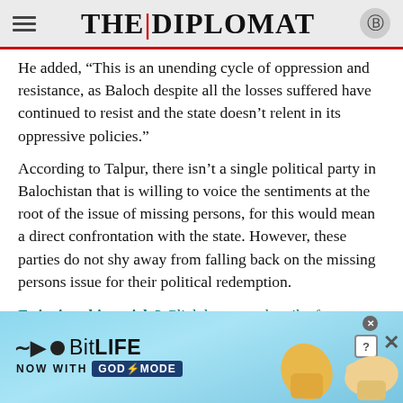THE DIPLOMAT
He added, “This is an unending cycle of oppression and resistance, as Baloch despite all the losses suffered have continued to resist and the state doesn’t relent in its oppressive policies.”
According to Talpur, there isn’t a single political party in Balochistan that is willing to voice the sentiments at the root of the issue of missing persons, for this would mean a direct confrontation with the state. However, these parties do not shy away from falling back on the missing persons issue for their political redemption.
Enjoying this article? Click here to subscribe for
[Figure (other): BitLife mobile game advertisement banner with blue background, showing BitLife logo, 'NOW WITH GOD MODE' text, thumbs up emoji and pointing hand illustration]